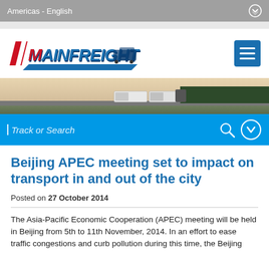Americas - English
[Figure (logo): Mainfreight logo with red and blue stylized text and truck graphic]
[Figure (photo): Highway scene with Mainfreight trucks and trees in background at dusk]
Track or Search
Beijing APEC meeting set to impact on transport in and out of the city
Posted on 27 October 2014
The Asia-Pacific Economic Cooperation (APEC) meeting will be held in Beijing from 5th to 11th November, 2014. In an effort to ease traffic congestions and curb pollution during this time, the Beijing